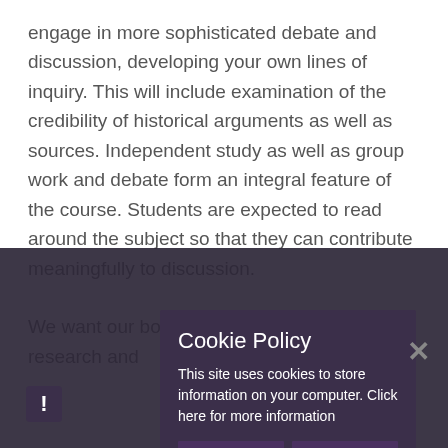engage in more sophisticated debate and discussion, developing your own lines of inquiry. This will include examination of the credibility of historical arguments as well as sources. Independent study as well as group work and debate form an integral feature of the course. Students are expected to read around the subject so that they can contribute meaningfully to discussion.
We want our boys to engage in historical research and
[Figure (screenshot): Cookie Policy modal overlay on a dark background. Title: 'Cookie Policy'. Body text: 'This site uses cookies to store information on your computer. Click here for more information'. Two buttons: 'Allow Cookies' and 'Deny Cookies'. An X close button top right. An exclamation mark badge bottom left.]